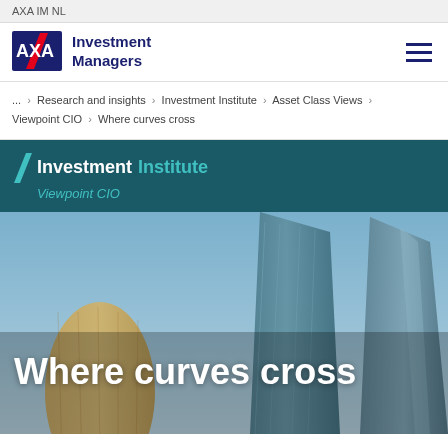AXA IM NL
[Figure (logo): AXA Investment Managers logo with AXA shield emblem and text 'Investment Managers']
... › Research and insights › Investment Institute › Asset Class Views › Viewpoint CIO › Where curves cross
Investment Institute Viewpoint CIO
Where curves cross
[Figure (photo): Upward view of modern glass skyscrapers against a blue sky, serving as a hero image background]